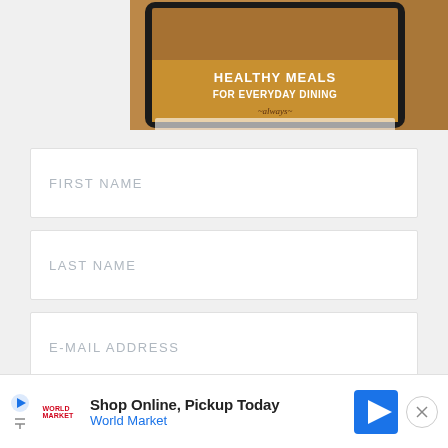[Figure (photo): Top portion of a recipe book/e-book display showing 'Healthy Meals For Everyday Dining' text on a tablet device with food imagery in the background]
FIRST NAME
LAST NAME
E-MAIL ADDRESS
Go
[Figure (infographic): Advertisement banner: Shop Online, Pickup Today - World Market, with play button, World Market logo, and directional arrow icon, and close button]